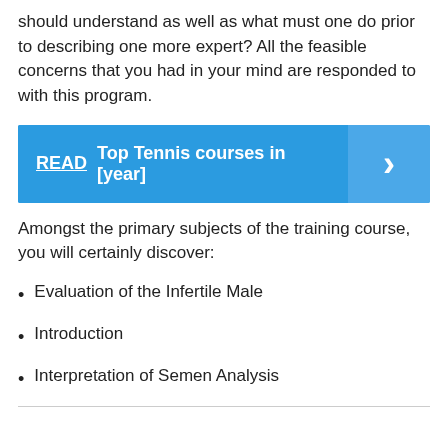should understand as well as what must one do prior to describing one more expert? All the feasible concerns that you had in your mind are responded to with this program.
[Figure (infographic): Blue banner with text 'READ Top Tennis courses in [year]' and a right-arrow chevron on the right side]
Amongst the primary subjects of the training course, you will certainly discover:
Evaluation of the Infertile Male
Introduction
Interpretation of Semen Analysis